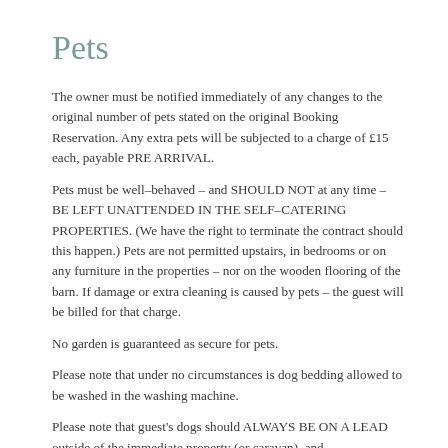Pets
The owner must be notified immediately of any changes to the original number of pets stated on the original Booking Reservation. Any extra pets will be subjected to a charge of £15 each, payable PRE ARRIVAL.
Pets must be well–behaved – and SHOULD NOT at any time – BE LEFT UNATTENDED IN THE SELF–CATERING PROPERTIES. (We have the right to terminate the contract should this happen.) Pets are not permitted upstairs, in bedrooms or on any furniture in the properties – nor on the wooden flooring of the barn. If damage or extra cleaning is caused by pets – the guest will be billed for that charge.
No garden is guaranteed as secure for pets.
Please note that under no circumstances is dog bedding allowed to be washed in the washing machine.
Please note that guest's dogs should ALWAYS BE ON A LEAD outside of the immediate property (or caravan), and